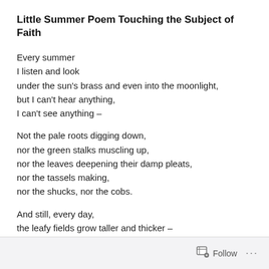Little Summer Poem Touching the Subject of Faith
Every summer
I listen and look
under the sun's brass and even into the moonlight,
but I can't hear anything,
I can't see anything —
Not the pale roots digging down,
nor the green stalks muscling up,
nor the leaves deepening their damp pleats,
nor the tassels making,
nor the shucks, nor the cobs.
And still, every day,
the leafy fields grow taller and thicker —
Follow ...